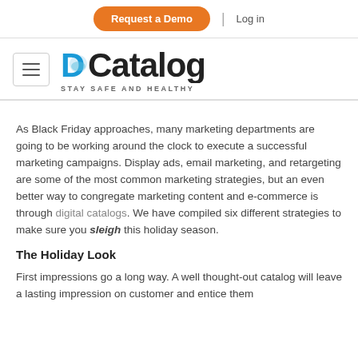Request a Demo | Log in
[Figure (logo): DCatalog logo with text STAY SAFE AND HEALTHY]
As Black Friday approaches, many marketing departments are going to be working around the clock to execute a successful marketing campaigns. Display ads, email marketing, and retargeting are some of the most common marketing strategies, but an even better way to congregate marketing content and e-commerce is through digital catalogs. We have compiled six different strategies to make sure you sleigh this holiday season.
The Holiday Look
First impressions go a long way. A well thought-out catalog will leave a lasting impression on customer and entice them